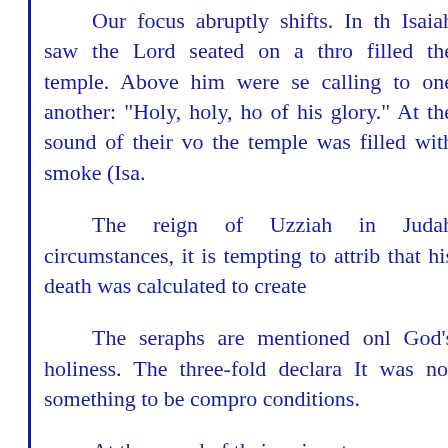Our focus abruptly shifts. In th Isaiah saw the Lord seated on a thro filled the temple. Above him were se calling to one another: "Holy, holy, ho of his glory." At the sound of their vo the temple was filled with smoke (Isa.
The reign of Uzziah in Judah circumstances, it is tempting to attrib that his death was calculated to create
The seraphs are mentioned onl God's holiness. The three-fold declara It was not something to be compro conditions.
At the sound of their voices t